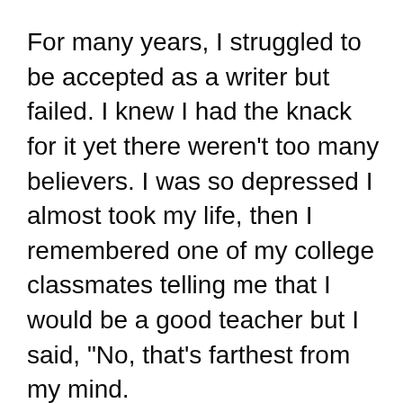For many years, I struggled to be accepted as a writer but failed. I knew I had the knack for it yet there weren’t too many believers. I was so depressed I almost took my life, then I remembered one of my college classmates telling me that I would be a good teacher but I said, “No, that’s farthest from my mind.